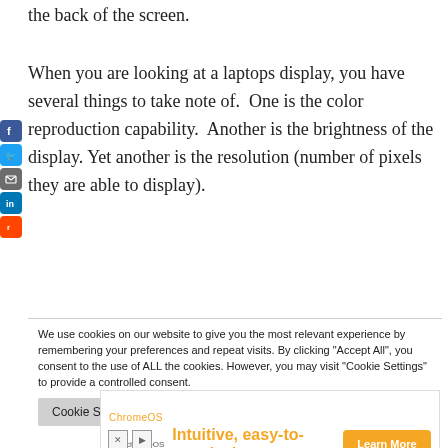the back of the screen.
When you are looking at a laptops display, you have several things to take note of.  One is the color reproduction capability.  Another is the brightness of the display. Yet another is the resolution (number of pixels they are able to display).
We use cookies on our website to give you the most relevant experience by remembering your preferences and repeat visits. By clicking "Accept All", you consent to the use of ALL the cookies. However, you may visit "Cookie Settings" to provide a controlled consent.
[Figure (other): Cookie consent buttons: 'Cookie Settings' (gray) and 'Accept All' (green)]
[Figure (other): ChromeOS advertisement banner with text 'Intuitive, easy-to-use devices' and 'Learn More' button in orange/yellow]